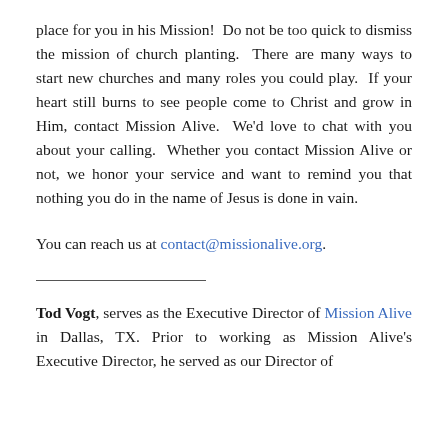place for you in his Mission!  Do not be too quick to dismiss the mission of church planting.  There are many ways to start new churches and many roles you could play.  If your heart still burns to see people come to Christ and grow in Him, contact Mission Alive.  We'd love to chat with you about your calling.  Whether you contact Mission Alive or not, we honor your service and want to remind you that nothing you do in the name of Jesus is done in vain.
You can reach us at contact@missionalive.org.
Tod Vogt, serves as the Executive Director of Mission Alive in Dallas, TX. Prior to working as Mission Alive's Executive Director, he served as our Director of